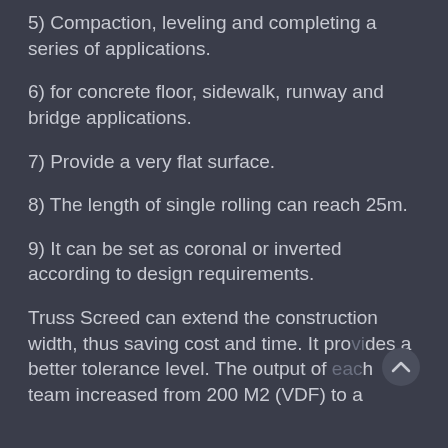5) Compaction, leveling and completing a series of applications.
6) for concrete floor, sidewalk, runway and bridge applications.
7) Provide a very flat surface.
8) The length of single rolling can reach 25m.
9) It can be set as coronal or inverted according to design requirements.
Truss Screed can extend the construction width, thus saving cost and time. It provides a better tolerance level. The output of each team increased from 200 M2 (VDF) to a